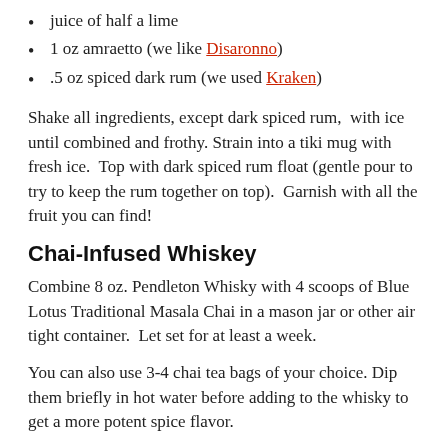juice of half a lime
1 oz amraetto (we like Disaronno)
.5 oz spiced dark rum (we used Kraken)
Shake all ingredients, except dark spiced rum,  with ice until combined and frothy. Strain into a tiki mug with fresh ice.  Top with dark spiced rum float (gentle pour to try to keep the rum together on top).  Garnish with all the fruit you can find!
Chai-Infused Whiskey
Combine 8 oz. Pendleton Whisky with 4 scoops of Blue Lotus Traditional Masala Chai in a mason jar or other air tight container.  Let set for at least a week.
You can also use 3-4 chai tea bags of your choice. Dip them briefly in hot water before adding to the whisky to get a more potent spice flavor.